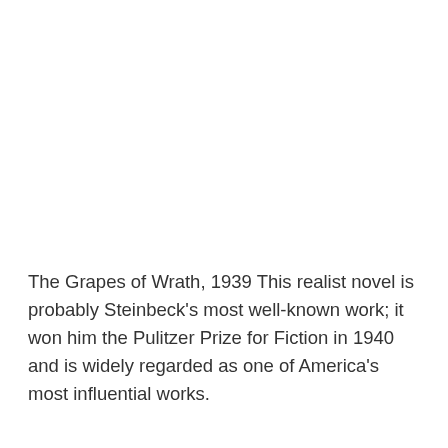The Grapes of Wrath, 1939 This realist novel is probably Steinbeck's most well-known work; it won him the Pulitzer Prize for Fiction in 1940 and is widely regarded as one of America's most influential works.